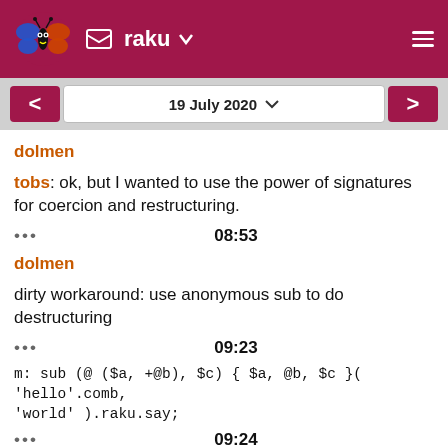raku
19 July 2020
dolmen
tobs: ok, but I wanted to use the power of signatures for coercion and restructuring.
08:53
dolmen
dirty workaround: use anonymous sub to do destructuring
09:23
m: sub (@ ($a, +@b), $c) { $a, @b, $c }( 'hello'.comb, 'world' ).raku.say;
09:24